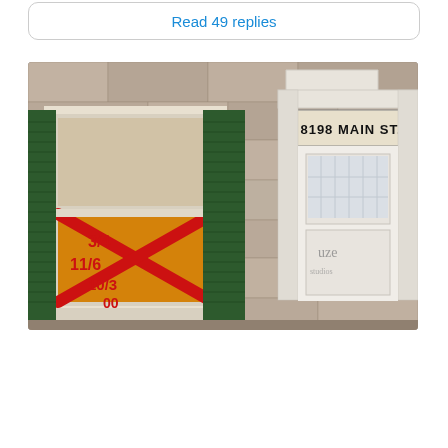Read 49 replies
[Figure (photo): Exterior photo of a granite stone building at 8198 Main St. The building has green shutters and a white-framed window on the left side with red spray paint graffiti forming an X shape with numbers. To the right is a white classical-style door surround with a sign reading '8198 MAIN ST.' and a partially visible sign reading 'uze'. The building facade shows granite block construction.]